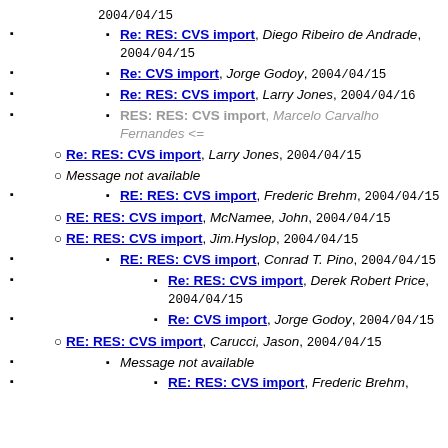2004/04/15
Re: RES: CVS import, Diego Ribeiro de Andrade, 2004/04/15
Re: CVS import, Jorge Godoy, 2004/04/15
Re: RES: CVS import, Larry Jones, 2004/04/16
RES: RES: CVS import, Marcelo Carvalho Fernandes <=
Re: RES: CVS import, Larry Jones, 2004/04/15
Message not available
RE: RES: CVS import, Frederic Brehm, 2004/04/15
RE: RES: CVS import, McNamee, John, 2004/04/15
RE: RES: CVS import, Jim.Hyslop, 2004/04/15
RE: RES: CVS import, Conrad T. Pino, 2004/04/15
Re: RES: CVS import, Derek Robert Price, 2004/04/15
Re: CVS import, Jorge Godoy, 2004/04/15
RE: RES: CVS import, Carucci, Jason, 2004/04/15
Message not available
RE: RES: CVS import, Frederic Brehm,